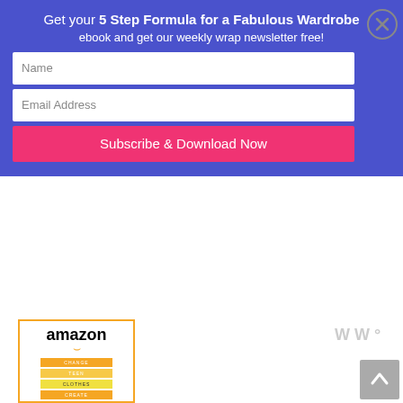Get your 5 Step Formula for a Fabulous Wardrobe ebook and get our weekly wrap newsletter free!
Name
Email Address
Subscribe & Download Now
[Figure (screenshot): Amazon product image box with Amazon logo, orange arrow, and stacked colorful book spines]
[Figure (logo): Watermark logo with stylized W and degree symbol]